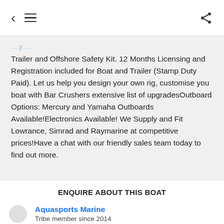< ≡ share
Trailer and Offshore Safety Kit. 12 Months Licensing and Registration included for Boat and Trailer (Stamp Duty Paid). Let us help you design your own rig, customise you boat with Bar Crushers extensive list of upgradesOutboard Options: Mercury and Yamaha Outboards Available!Electronics Available! We Supply and Fit Lowrance, Simrad and Raymarine at competitive prices!Have a chat with our friendly sales team today to find out more.
ENQUIRE ABOUT THIS BOAT
Aquasports Marine
Tribe member since 2014